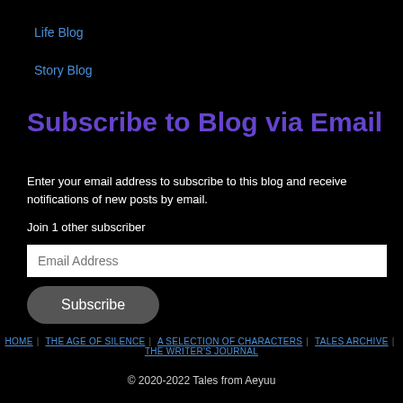Life Blog
Story Blog
Subscribe to Blog via Email
Enter your email address to subscribe to this blog and receive notifications of new posts by email.
Join 1 other subscriber
Email Address
Subscribe
HOME | THE AGE OF SILENCE | A SELECTION OF CHARACTERS | TALES ARCHIVE | THE WRITER'S JOURNAL
© 2020-2022 Tales from Aeyuu